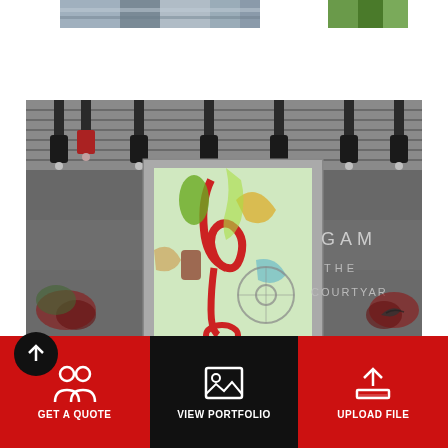[Figure (photo): Partial top-of-page images: left shows metallic/architectural detail, right shows green foliage]
[Figure (photo): Main photo of a building entrance with decorative murals/artwork on glass doors, pendant lights on ceiling, text reading GAM... THE COURTYAR... on wall]
[Figure (screenshot): Bottom navigation bar with three buttons: GET A QUOTE (people icon), VIEW PORTFOLIO (image icon, black background), UPLOAD FILE (upload icon). Red background bar with a circular up-arrow button at bottom left.]